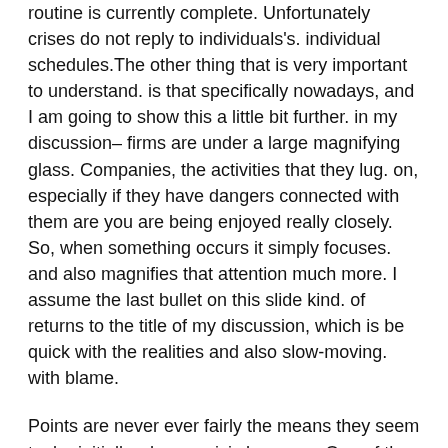routine is currently complete. Unfortunately crises do not reply to individuals's. individual schedules.The other thing that is very important to understand. is that specifically nowadays, and I am going to show this a little bit further. in my discussion– firms are under a large magnifying glass. Companies, the activities that they lug. on, especially if they have dangers connected with them are you are being enjoyed really closely. So, when something occurs it simply focuses. and also magnifies that attention much more. I assume the last bullet on this slide kind. of returns to the title of my discussion, which is be quick with the realities and also slow-moving. with blame.
Points are never ever fairly the means they seem to. be initially when a crisis happens. One of the hardest components is trying to obtain. a manage on what in fact occurred. There is a lot of info